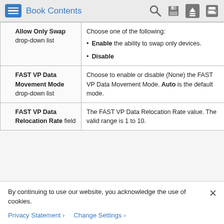Book Contents
| Field | Description |
| --- | --- |
| Allow Only Swap drop-down list | Choose one of the following:
• Enable the ability to swap only devices.
• Disable |
| FAST VP Data Movement Mode drop-down list | Choose to enable or disable (None) the FAST VP Data Movement Mode. Auto is the default mode. |
| FAST VP Data Relocation Rate field | The FAST VP Data Relocation Rate value. The valid range is 1 to 10. |
By continuing to use our website, you acknowledge the use of cookies.
Privacy Statement >   Change Settings >